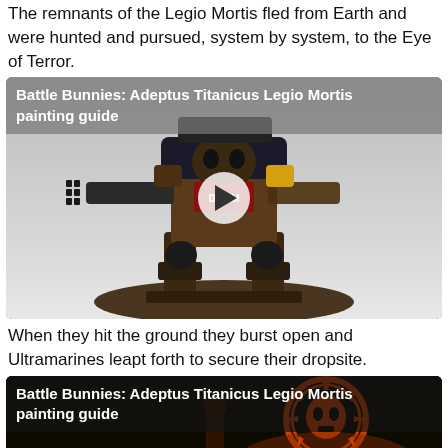The remnants of the Legio Mortis fled from Earth and were hunted and pursued, system by system, to the Eye of Terror.
[Figure (screenshot): Video thumbnail showing a painted Warhammer Adeptus Titanicus Legio Mortis Titan miniature on a base, with a play button overlay and title 'Battle Bunnies: Adeptus Titanicus Legio Mortis painting guide']
When they hit the ground they burst open and Ultramarines leapt forth to secure their dropsite.
[Figure (screenshot): Video thumbnail showing a dark background with an orange skull/gear emblem for Legio Mortis, with title 'Battle Bunnies: Adeptus Titanicus Legio Mortis painting guide']